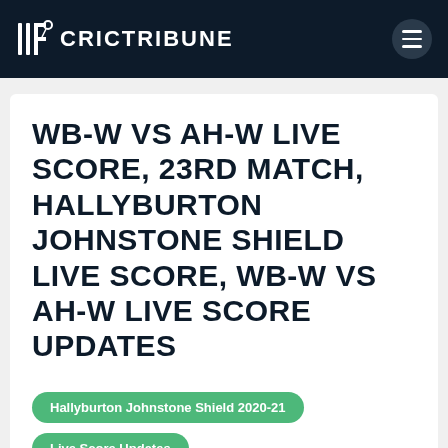CRICTRIBUNE
WB-W VS AH-W LIVE SCORE, 23RD MATCH, HALLYBURTON JOHNSTONE SHIELD LIVE SCORE, WB-W VS AH-W LIVE SCORE UPDATES
Hallyburton Johnstone Shield 2020-21
Live Score Updates
February 09, 2021  Sports Guru